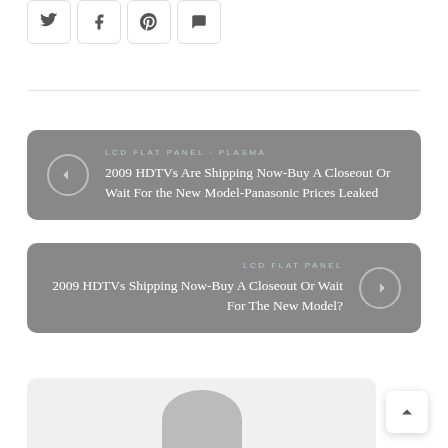[Figure (other): Social sharing buttons row: Twitter, Facebook, Pinterest, Comments]
LCD FLAT PANEL · PLASMA
2009 HDTVs Are Shipping Now-Buy A Closeout Or Wait For the New Model-Panasonic Prices Leaked
LCD FLAT PANEL
2009 HDTVs Shipping Now-Buy A Closeout Or Wait For The New Model?
[Figure (other): Back to top arrow button]